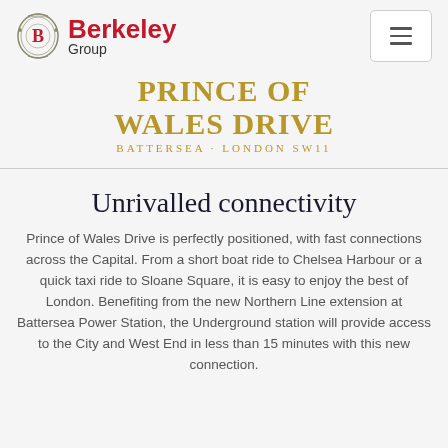[Figure (logo): Berkeley Group logo with ornate emblem on left and red 'Berkeley' text with 'Group' below]
PRINCE OF WALES DRIVE
BATTERSEA · LONDON SW11
Unrivalled connectivity
Prince of Wales Drive is perfectly positioned, with fast connections across the Capital. From a short boat ride to Chelsea Harbour or a quick taxi ride to Sloane Square, it is easy to enjoy the best of London. Benefiting from the new Northern Line extension at Battersea Power Station, the Underground station will provide access to the City and West End in less than 15 minutes with this new connection.